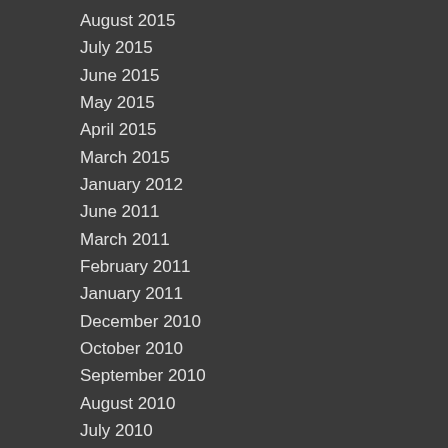August 2015
July 2015
June 2015
May 2015
April 2015
March 2015
January 2012
June 2011
March 2011
February 2011
January 2011
December 2010
October 2010
September 2010
August 2010
July 2010
June 2010